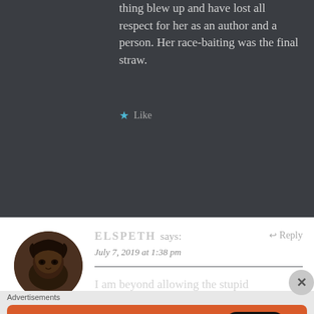thing blew up and have lost all respect for her as an author and a person. Her race-baiting was the final straw.
Like
ELSPETH says: July 7, 2019 at 1:38 pm
Reply
I am beyond allowing the stupid
[Figure (other): DuckDuckGo advertisement banner: Search, browse, and email with more privacy. All in One Free App. Shows DuckDuckGo logo on phone.]
Advertisements